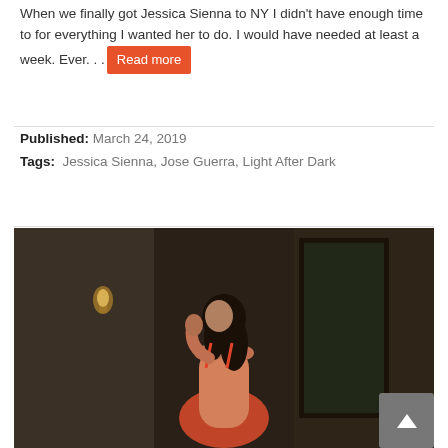When we finally got Jessica Sienna to NY I didn't have enough time to for everything I wanted her to do. I would have needed at least a week. Ever. . . Read more
Published: March 24, 2019
Tags: Jessica Sienna, Jose Guerra, Light After Dark
[Figure (photo): A woman with long dark hair wearing a red outfit, looking back over her shoulder in a dimly lit indoor setting with brick walls and a wall lamp.]